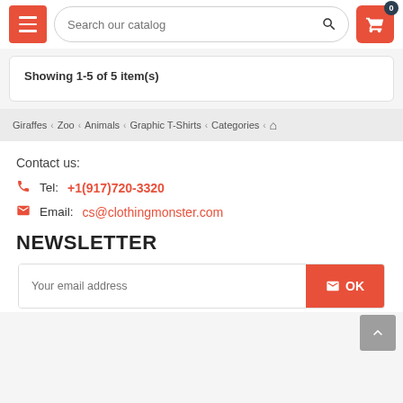Search our catalog
Showing 1-5 of 5 item(s)
Giraffes < Zoo < Animals < Graphic T-Shirts < Categories < Home
Contact us:
Tel: +1(917)720-3320
Email: cs@clothingmonster.com
NEWSLETTER
Your email address